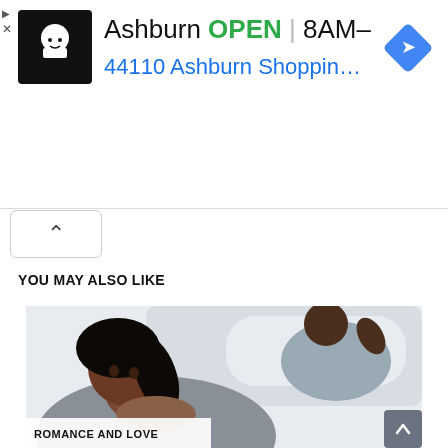[Figure (screenshot): Google Maps / local business ad banner for Ashburn location showing OPEN status, hours 8AM-10PM, address 44110 Ashburn Shopping Pl... with navigation diamond icon and chef logo]
[Figure (other): Collapse/chevron up button below ad banner]
YOU MAY ALSO LIKE
[Figure (photo): Stock photo of a Black couple on a bed, woman in foreground looking pensive, man in background lying down with hand behind head. ROMANCE AND LOVE label overlay at bottom left.]